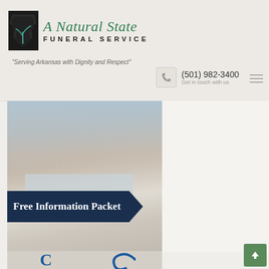[Figure (logo): A Natural State Funeral Service logo with Arkansas state silhouette icon and script/sans-serif text]
"Serving Arkansas with Dignity and Respect"
(501) 982-3400
Get in touch with us
[Figure (photo): Person with laptop on desk - Free Information Packet promotional banner with dark navy ribbon]
Crescent Memorial
[Figure (logo): Crescent Memorial logo partially visible at bottom]